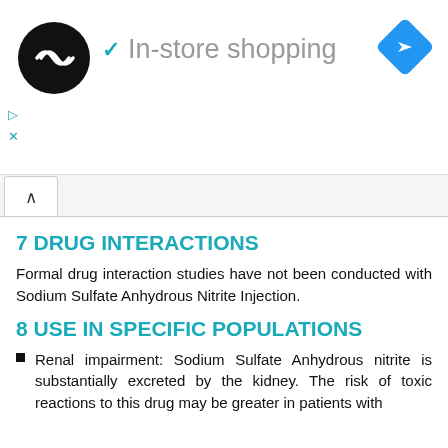[Figure (screenshot): Ad banner with circular logo, checkmark, 'In-store shopping' text, and blue navigation diamond icon]
7 DRUG INTERACTIONS
Formal drug interaction studies have not been conducted with Sodium Sulfate Anhydrous Nitrite Injection.
8 USE IN SPECIFIC POPULATIONS
Renal impairment: Sodium Sulfate Anhydrous nitrite is substantially excreted by the kidney. The risk of toxic reactions to this drug may be greater in patients with